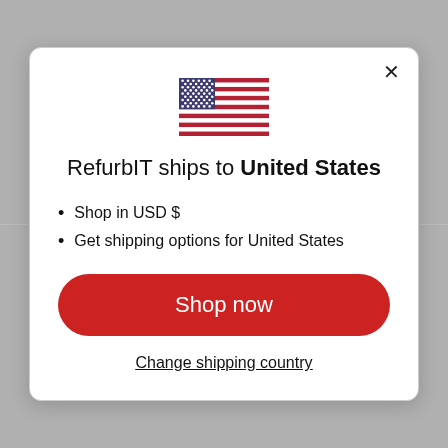[Figure (screenshot): Background of a retail website showing product prices in CAD with strikethrough original prices and teal sale prices]
[Figure (illustration): US flag SVG icon centered at top of modal]
RefurbIT ships to United States
Shop in USD $
Get shipping options for United States
Shop now
Change shipping country